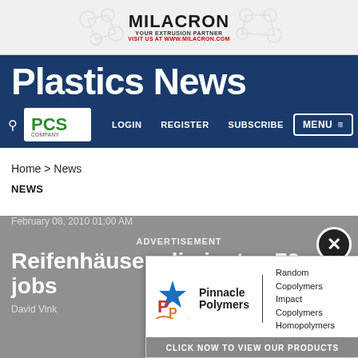[Figure (illustration): Milacron advertisement banner: 'MILACRON YOUR EXTRUSION PARTNER VISIT US AT WWW.MILACRON.COM' with chemical structure graphics on both sides]
Plastics News
[Figure (logo): PCS Company logo in white box]
LOGIN   REGISTER   SUBSCRIBE   MENU
Home > News
NEWS
February 08, 2010 01:00 AM
ADVERTISEMENT
Reifenhäuser eliminates 70 jobs
David Vink
[Figure (advertisement): Pinnacle Polymers popup advertisement showing: Random Copolymers, Impact Copolymers, Homopolymers. With 'CLICK NOW TO VIEW OUR PRODUCTS' button]